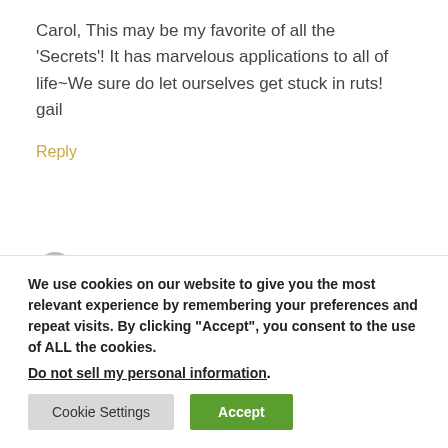Carol, This may be my favorite of all the 'Secrets'! It has marvelous applications to all of life~We sure do let ourselves get stuck in ruts! gail
Reply
We use cookies on our website to give you the most relevant experience by remembering your preferences and repeat visits. By clicking “Accept”, you consent to the use of ALL the cookies.
Do not sell my personal information.
Cookie Settings
Accept